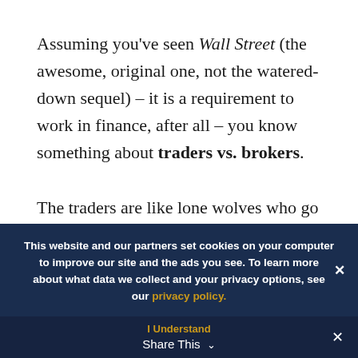Assuming you've seen Wall Street (the awesome, original one, not the watered-down sequel) – it is a requirement to work in finance, after all – you know something about traders vs. brokers.

The traders are like lone wolves who go in and make tons of money by making quick
This website and our partners set cookies on your computer to improve our site and the ads you see. To learn more about what data we collect and your privacy options, see our privacy policy.
I Understand  Share This ∨